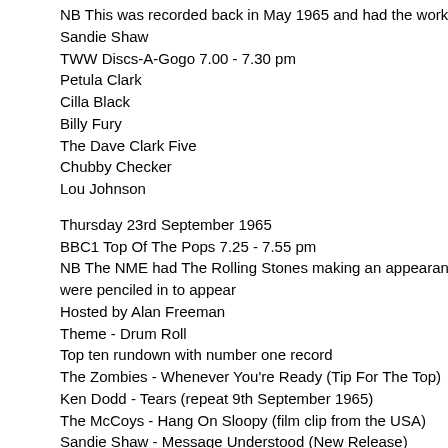NB This was recorded back in May 1965 and had the working title...
Sandie Shaw
TWW Discs-A-Gogo 7.00 - 7.30 pm
Petula Clark
Cilla Black
Billy Fury
The Dave Clark Five
Chubby Checker
Lou Johnson
Thursday 23rd September 1965
BBC1 Top Of The Pops 7.25 - 7.55 pm
NB The NME had The Rolling Stones making an appearance... were penciled in to appear
Hosted by Alan Freeman
Theme - Drum Roll
Top ten rundown with number one record
The Zombies - Whenever You're Ready (Tip For The Top)
Ken Dodd - Tears (repeat 9th September 1965)
The McCoys - Hang On Sloopy (film clip from the USA)
Sandie Shaw - Message Understood (New Release)
The Hollies - Look Through Any Window (repeat 16th Septe...
Sonny & Cher - Baby Don't Go (film clip with "Miss Lee Fran...
Manfred Mann - If You Gotta Go Go Now
Petula Clark - Round Every Corner
The Walker Brothers - Make It Easy On Yourself (repeat 9...